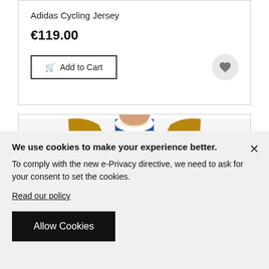Adidas Cycling Jersey
€119.00
Add to Cart
[Figure (photo): Back view of a cycling jersey with gold and blue vertical stripes, showing 'CROSS CYCLING TEAM' text with a winged gear logo on the back]
We use cookies to make your experience better. To comply with the new e-Privacy directive, we need to ask for your consent to set the cookies.
Read our policy
Allow Cookies